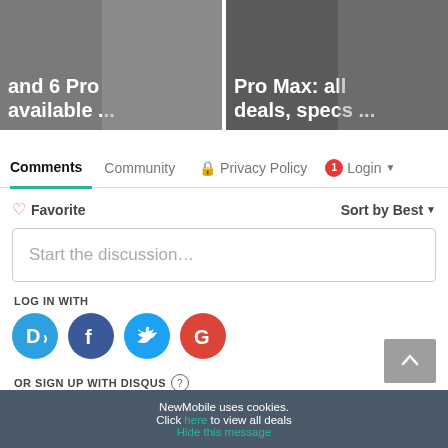[Figure (screenshot): Two article preview cards side by side showing phone deal headlines: 'and 6 Pro available ...' on the left and 'Pro Max: all deals, specs ...' on the right, both with dark overlay on phone images]
Comments  Community  Privacy Policy  1  Login ▾
♡ Favorite
Sort by Best ▾
Start the discussion...
LOG IN WITH
[Figure (logo): Social login icons: Disqus (D), Facebook (f), Twitter bird, Google (G)]
OR SIGN UP WITH DISQUS ?
Name
NewMobile uses cookies.
Click here to view all deals
Hide this message